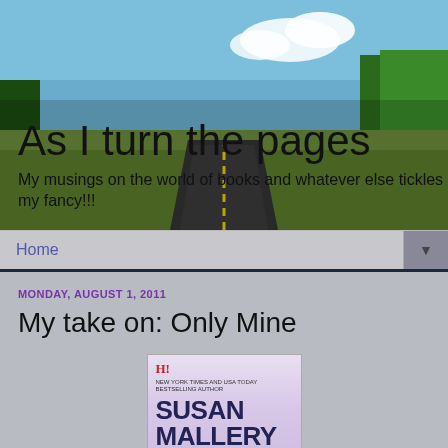[Figure (photo): Blog header banner showing a road stretching into the distance with blue sky, clouds, and green trees on either side]
As I turn the pages
My musings on the world of books and whatever else tickles my fancy!!!
Home
MONDAY, AUGUST 1, 2011
My take on: Only Mine
[Figure (photo): Book cover of 'Only Mine' by Susan Mallery, published by Harlequin]